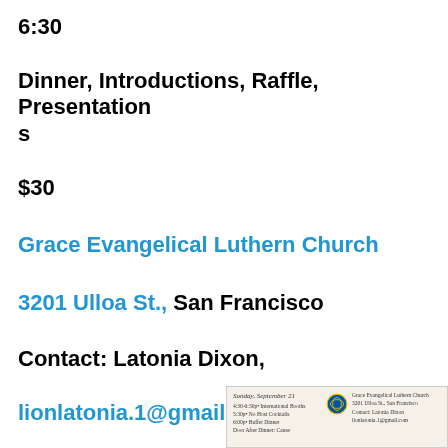6:30
Dinner, Introductions, Raffle, Presentations
$30
Grace Evangelical Luthern Church
3201 Ulloa St., San Francisco
Contact: Latonia Dixon,
lionlatonia.1@gmail.com
[Figure (illustration): Small event flyer thumbnail showing Sunday September 21 event details at Grace Evangelical Luthern Church, 3201 Ulloa St., San Francisco, contact Latonia Dixon, lionlatonia.1@gmail.com, with a Lions Club logo in the center]